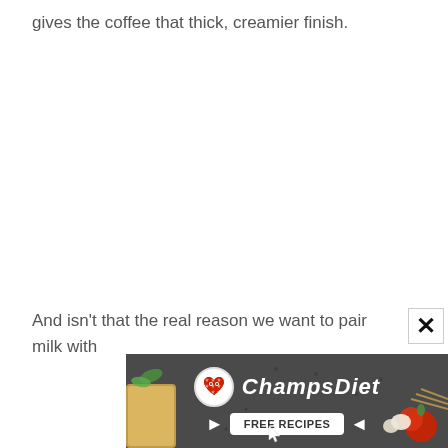gives the coffee that thick, creamier finish.
And isn’t that the real reason we want to pair milk with
[Figure (infographic): ChampsDiet advertisement banner with logo, title 'ChampsDiet' in script font, and 'FREE RECIPES' button with arrows, food items visible in background on dark surface]